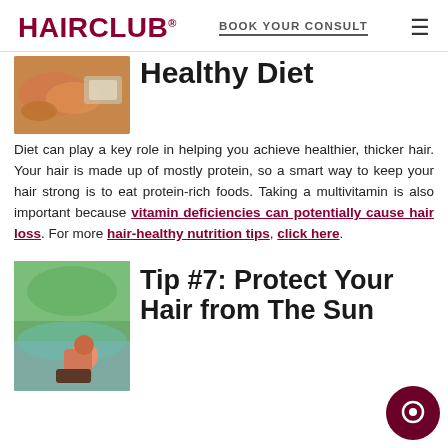HAIRCLUB® | BOOK YOUR CONSULT | ≡
Healthy Diet
Diet can play a key role in helping you achieve healthier, thicker hair. Your hair is made up of mostly protein, so a smart way to keep your hair strong is to eat protein-rich foods. Taking a multivitamin is also important because vitamin deficiencies can potentially cause hair loss. For more hair-healthy nutrition tips, click here.
[Figure (photo): Food items including salmon on a plate]
Tip #7: Protect Your Hair from The Sun
[Figure (photo): Person sitting near a pool outdoors on a sunny day]